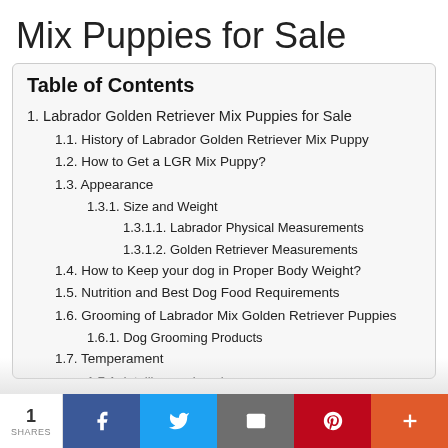Mix Puppies for Sale
| 1. Labrador Golden Retriever Mix Puppies for Sale |
| 1.1. History of Labrador Golden Retriever Mix Puppy |
| 1.2. How to Get a LGR Mix Puppy? |
| 1.3. Appearance |
| 1.3.1. Size and Weight |
| 1.3.1.1. Labrador Physical Measurements |
| 1.3.1.2. Golden Retriever Measurements |
| 1.4. How to Keep your dog in Proper Body Weight? |
| 1.5. Nutrition and Best Dog Food Requirements |
| 1.6. Grooming of Labrador Mix Golden Retriever Puppies |
| 1.6.1. Dog Grooming Products |
| 1.7. Temperament |
| 1.7.1. Intelligence Level |
1 SHARES | Facebook | Twitter | Email | Pinterest | Plus